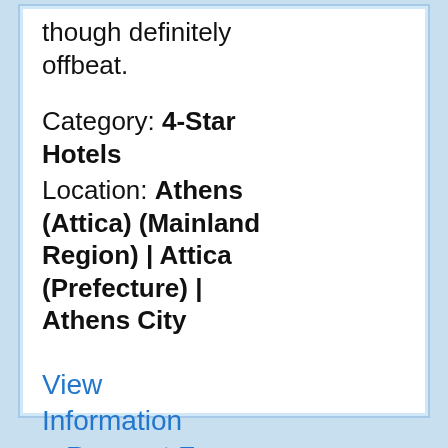though definitely offbeat.
Category: 4-Star Hotels
Location: Athens (Attica) (Mainland Region) | Attica (Prefecture) | Athens City
View Information
  Request Form